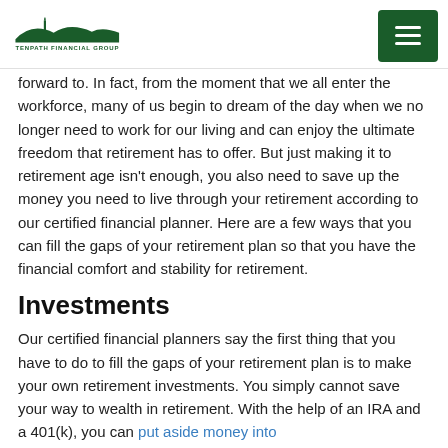Tenpath Financial Group
forward to. In fact, from the moment that we all enter the workforce, many of us begin to dream of the day when we no longer need to work for our living and can enjoy the ultimate freedom that retirement has to offer. But just making it to retirement age isn't enough, you also need to save up the money you need to live through your retirement according to our certified financial planner. Here are a few ways that you can fill the gaps of your retirement plan so that you have the financial comfort and stability for retirement.
Investments
Our certified financial planners say the first thing that you have to do to fill the gaps of your retirement plan is to make your own retirement investments. You simply cannot save your way to wealth in retirement. With the help of an IRA and a 401(k), you can put aside money into